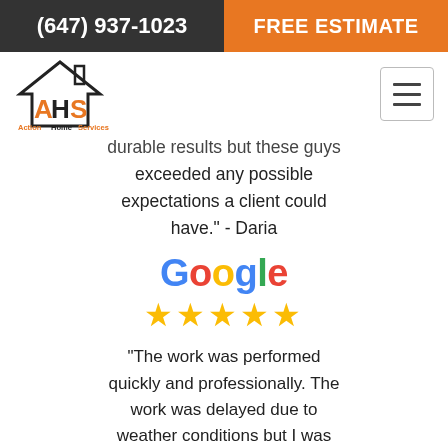(647) 937-1023 | FREE ESTIMATE
[Figure (logo): Action Home Services logo with house outline and AHS initials in orange and black]
durable results but these guys exceeded any possible expectations a client could have." - Daria
[Figure (other): Google logo with 5 gold stars rating]
"The work was performed quickly and professionally. The work was delayed due to weather conditions but I was